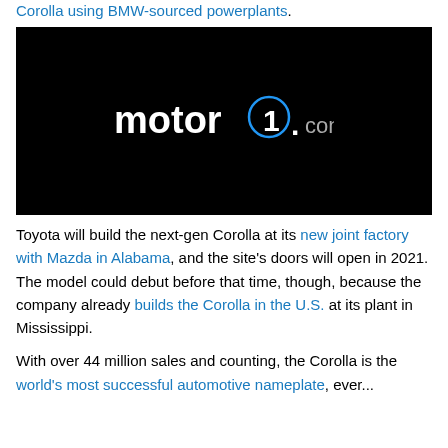Corolla using BMW-sourced powerplants.
[Figure (screenshot): Black video placeholder with motor1.com logo in the center. White text reads 'motor1' with a blue circled '1' and '.com' in grey.]
Toyota will build the next-gen Corolla at its new joint factory with Mazda in Alabama, and the site's doors will open in 2021. The model could debut before that time, though, because the company already builds the Corolla in the U.S. at its plant in Mississippi.

With over 44 million sales and counting, the Corolla is the world's most successful automotive nameplate, ever...